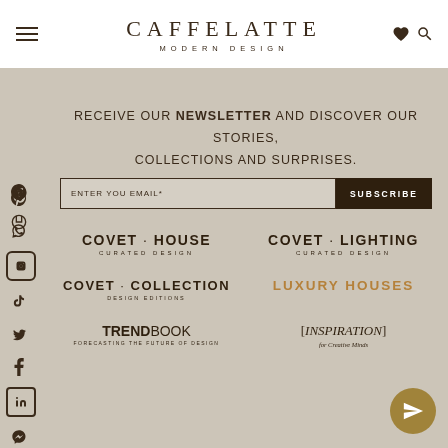CAFFELATTE MODERN DESIGN
RECEIVE OUR NEWSLETTER AND DISCOVER OUR STORIES, COLLECTIONS AND SURPRISES.
ENTER YOU EMAIL* | SUBSCRIBE
[Figure (logo): Covet House - Curated Design logo]
[Figure (logo): Covet Lighting - Curated Design logo]
[Figure (logo): Covet Collection - Design Editions logo]
[Figure (logo): Luxury Houses logo]
[Figure (logo): Trendbook - Forecasting the Future of Design logo]
[Figure (logo): [Inspiration] for Creative Minds logo]